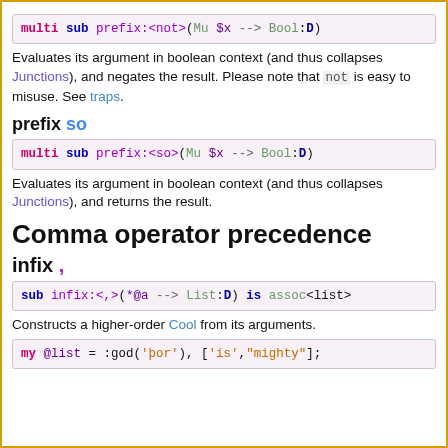[Figure (screenshot): Code block: multi sub prefix:<not>(Mu $x --> Bool:D)]
Evaluates its argument in boolean context (and thus collapses Junctions), and negates the result. Please note that not is easy to misuse. See traps.
prefix so
[Figure (screenshot): Code block: multi sub prefix:<so>(Mu $x --> Bool:D)]
Evaluates its argument in boolean context (and thus collapses Junctions), and returns the result.
Comma operator precedence
infix ,
[Figure (screenshot): Code block: sub infix:<,>(*@a --> List:D) is assoc<list>]
Constructs a higher-order Cool from its arguments.
[Figure (screenshot): Code block: my @list = :god('þor'), ['is','mighty'];]